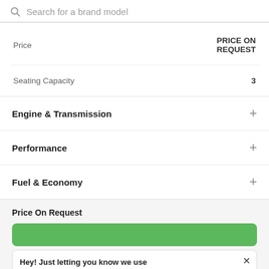Search for a brand model
|  |  |
| --- | --- |
| Price | PRICE ON REQUEST |
| Seating Capacity | 3 |
Engine & Transmission
Performance
Fuel & Economy
Price On Request
Hey! Just letting you know we use